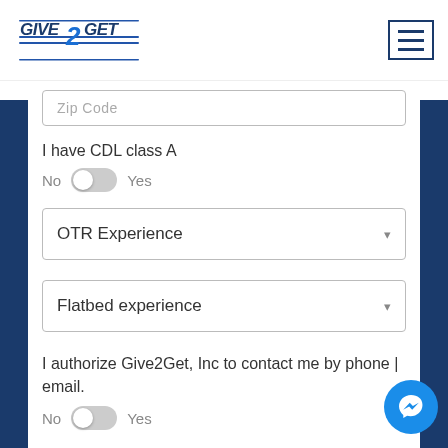[Figure (logo): Give2Get logo with stylized text and blue design]
Zip Code
I have CDL class A
No  Yes
OTR Experience
Flatbed experience
I authorize Give2Get, Inc to contact me by phone | email.
No  Yes